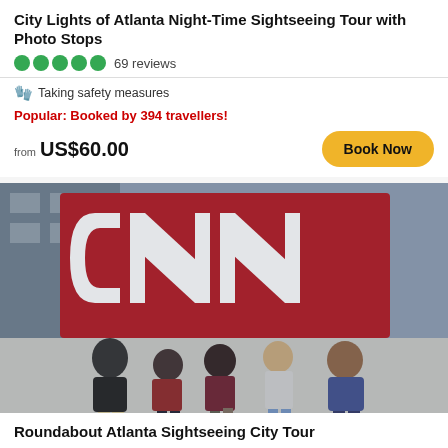City Lights of Atlanta Night-Time Sightseeing Tour with Photo Stops
69 reviews
Taking safety measures
Popular: Booked by 394 travellers!
from US$60.00
Book Now
[Figure (photo): Five people posing and laughing in front of the large red CNN logo sign outside the CNN Center in Atlanta, Georgia. The group appears to be on a city sightseeing tour.]
Roundabout Atlanta Sightseeing City Tour